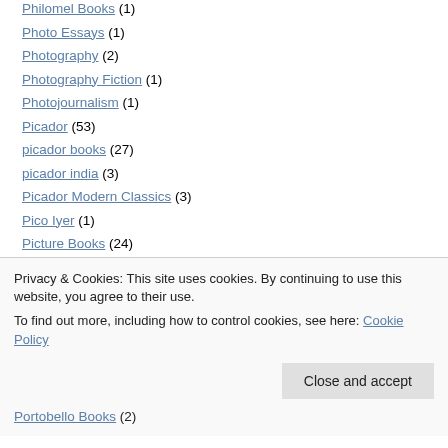Philomel Books (1)
Photo Essays (1)
Photography (2)
Photography Fiction (1)
Photojournalism (1)
Picador (53)
picador books (27)
picador india (3)
Picador Modern Classics (3)
Pico Iyer (1)
Picture Books (24)
Platinum Press (1)
Plume Books (1)
Privacy & Cookies: This site uses cookies. By continuing to use this website, you agree to their use.
To find out more, including how to control cookies, see here: Cookie Policy
Portobello Books (2)